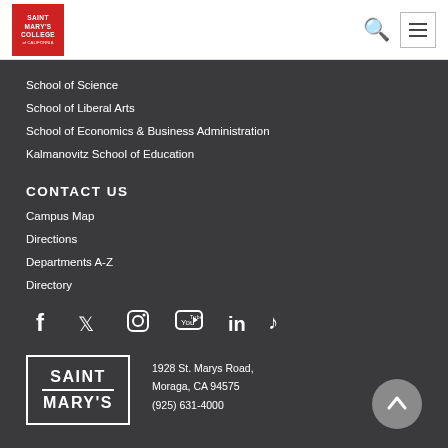[Figure (logo): Saint Mary's College of California red logo in header]
School of Science
School of Liberal Arts
School of Economics & Business Administration
Kalmanovitz School of Education
CONTACT US
Campus Map
Directions
Departments A-Z
Directory
[Figure (logo): Social media icons: Facebook, Twitter, Instagram, YouTube, LinkedIn, TikTok]
[Figure (logo): Saint Mary's College wordmark logo in white box]
1928 St. Marys Road,
Moraga, CA 94575
(925) 631-4000